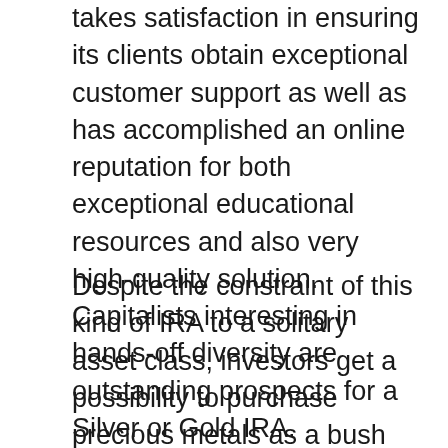takes satisfaction in ensuring its clients obtain exceptional customer support as well as has accomplished an online reputation for both exceptional educational resources and also very high-quality solution. Capitalists interesting in hands-off diversity are outstanding prospects for a Silver or Gold IRA.
Despite the constraint of this kind of IRA to a solitary asset class, investors get a possibility to purchase precious metals as a bush for paper financial investments. This is different than buying funds, supplies or bonds since the demand to spend time doing marketing research to figure out the most effective investments for a rare-earth elements individual retirement account has